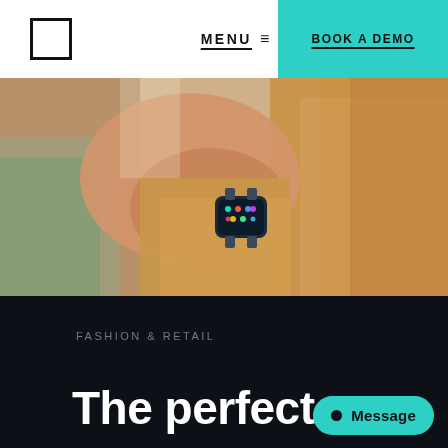MENU  BOOK A DEMO
[Figure (photo): Close-up photo of a person wearing a beige/camel knit sweater and a smartwatch, reaching forward. Warm indoor lighting with soft background.]
FASHION & RETAIL
The perfect
Message